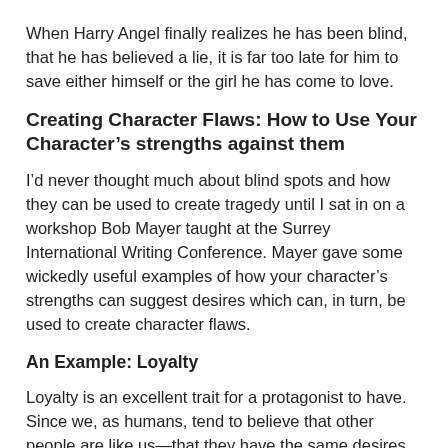When Harry Angel finally realizes he has been blind, that he has believed a lie, it is far too late for him to save either himself or the girl he has come to love.
Creating Character Flaws: How to Use Your Character’s strengths against them
I’d never thought much about blind spots and how they can be used to create tragedy until I sat in on a workshop Bob Mayer taught at the Surrey International Writing Conference. Mayer gave some wickedly useful examples of how your character’s strengths can suggest desires which can, in turn, be used to create character flaws.
An Example: Loyalty
Loyalty is an excellent trait for a protagonist to have. Since we, as humans, tend to believe that other people are like us—that they have the same desires and strengths and weaknesses we ourselves do—people who are loyal tend to believe that other people, especially those they consider